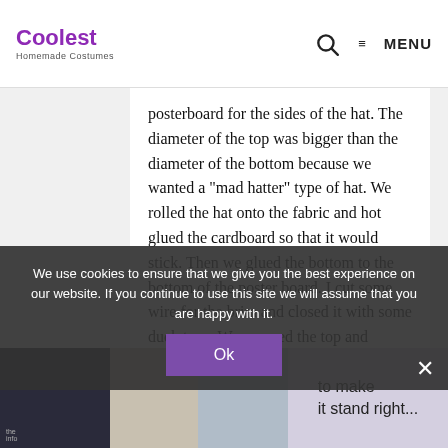Coolest Homemade Costumes — MENU
posterboard for the sides of the hat. The diameter of the top was bigger than the diameter of the bottom because we wanted a "mad hatter" type of hat. We rolled the hat onto the fabric and hot glued the cardboard so that it would stick. Then we glued the bottom to the bottom of the poster board. I cut some wire for the brim and closed it with some duck tape. We covered the top and bottom with fabric, then we attached the pink fabric around the bottom...to make it stand right...
We use cookies to ensure that we give you the best experience on our website. If you continue to use this site we will assume that you are happy with it.
Ok